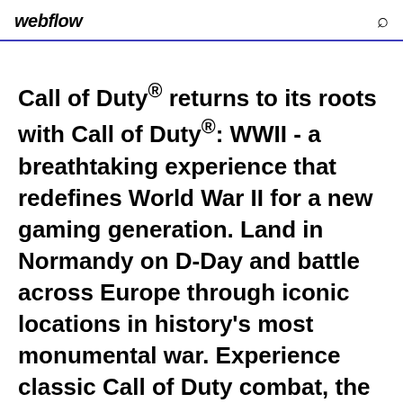webflow
Call of Duty® returns to its roots with Call of Duty®: WWII - a breathtaking experience that redefines World War II for a new gaming generation. Land in Normandy on D-Day and battle across Europe through iconic locations in history's most monumental war. Experience classic Call of Duty combat, the bonds of camaraderie, and the unforgiving nature of war against